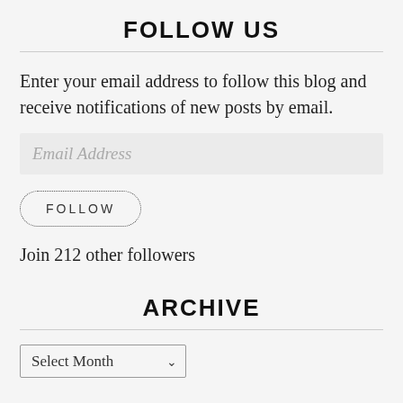FOLLOW US
Enter your email address to follow this blog and receive notifications of new posts by email.
Email Address
FOLLOW
Join 212 other followers
ARCHIVE
Select Month